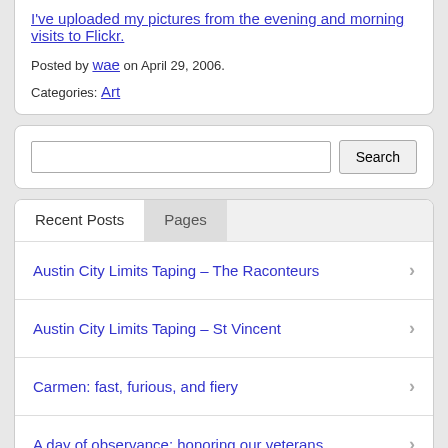I've uploaded my pictures from the evening and morning visits to Flickr.
Posted by wae on April 29, 2006.
Categories: Art
Search
Recent Posts
Pages
Austin City Limits Taping – The Raconteurs
Austin City Limits Taping – St Vincent
Carmen: fast, furious, and fiery
A day of observance: honoring our veterans
Austin City Limits Taping – Run the Jewels